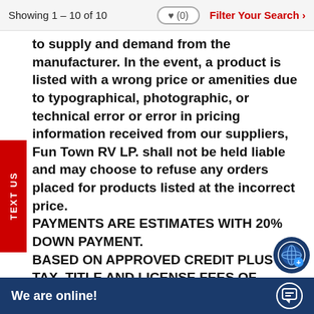Showing 1 – 10 of 10   ♥ (0)   Filter Your Search >
to supply and demand from the manufacturer. In the event, a product is listed with a wrong price or amenities due to typographical, photographic, or technical error or error in pricing information received from our suppliers, Fun Town RV LP. shall not be held liable and may choose to refuse any orders placed for products listed at the incorrect price.
PAYMENTS ARE ESTIMATES WITH 20% DOWN PAYMENT.
BASED ON APPROVED CREDIT PLUS TAX, TITLE AND LICENSE FEES OF SELLING PRICE.
NOT ALL CUSTOMERS WILL QUALIFY FOR THESE RATES AND TERMS.
*ON THE AMOUNT FINANCED UNDER $32,999 TERMS ARE BASED ON 144 MONTHS AT 6.99%
*ON THE AMOUNT F...
$64,999 TERMS ARE...